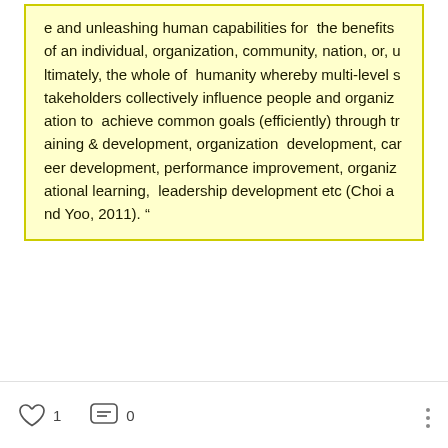e and unleashing human capabilities for  the benefits of an individual, organization, community, nation, or, ultimately, the whole of  humanity whereby multi-level stakeholders collectively influence people and organization to  achieve common goals (efficiently) through training & development, organization  development, career development, performance improvement, organizational learning,  leadership development etc (Choi and Yoo, 2011). “
1  0